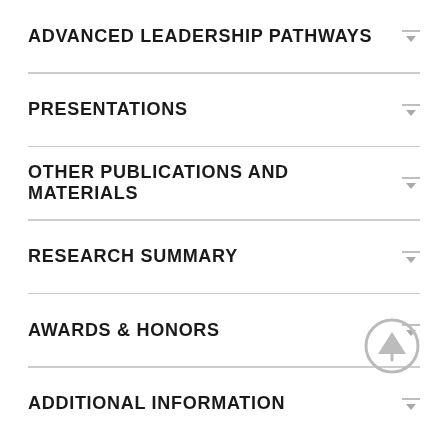ADVANCED LEADERSHIP PATHWAYS
PRESENTATIONS
OTHER PUBLICATIONS AND MATERIALS
RESEARCH SUMMARY
AWARDS & HONORS
ADDITIONAL INFORMATION